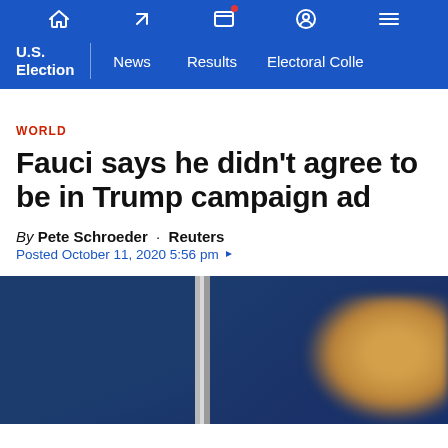U.S. Election  News  Results  Electoral College
WORLD
Fauci says he didn’t agree to be in Trump campaign ad
By Pete Schroeder · Reuters
Posted October 11, 2020 5:56 pm
[Figure (photo): Photo of a person, partially visible, with blurred face, against a blue background with what appears to be White House briefing room curtains]